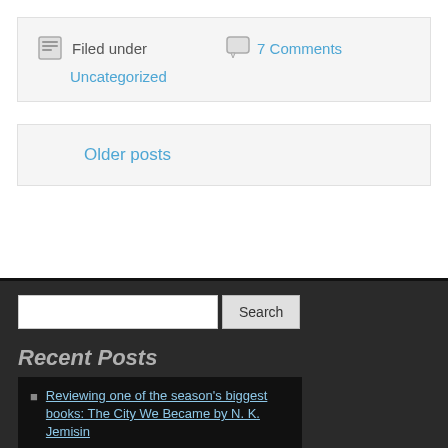Filed under
7 Comments
Uncategorized
Older posts
Search
Recent Posts
Reviewing one of the season's biggest books: The City We Became by N. K. Jemisin
Ethics of Authorship of Children Growing Up on Screen